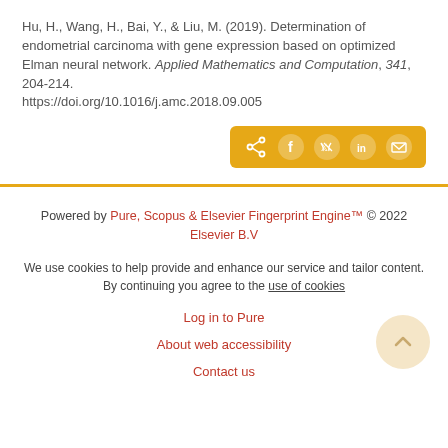Hu, H., Wang, H., Bai, Y., & Liu, M. (2019). Determination of endometrial carcinoma with gene expression based on optimized Elman neural network. Applied Mathematics and Computation, 341, 204-214. https://doi.org/10.1016/j.amc.2018.09.005
[Figure (other): Share buttons bar with social media icons (share, Facebook, Twitter, LinkedIn, email) on an amber/yellow background]
Powered by Pure, Scopus & Elsevier Fingerprint Engine™ © 2022 Elsevier B.V

We use cookies to help provide and enhance our service and tailor content. By continuing you agree to the use of cookies

Log in to Pure

About web accessibility

Contact us